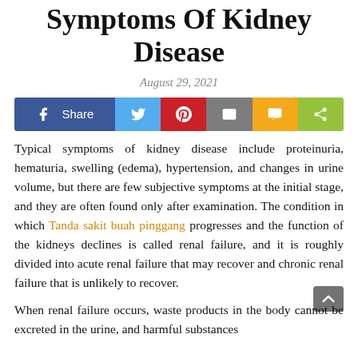Symptoms Of Kidney Disease
August 29, 2021
[Figure (other): Social media share bar with Facebook Share, Twitter, Pinterest, Email, SMS, and ShareThis buttons]
Typical symptoms of kidney disease include proteinuria, hematuria, swelling (edema), hypertension, and changes in urine volume, but there are few subjective symptoms at the initial stage, and they are often found only after examination. The condition in which Tanda sakit buah pinggang progresses and the function of the kidneys declines is called renal failure, and it is roughly divided into acute renal failure that may recover and chronic renal failure that is unlikely to recover.
When renal failure occurs, waste products in the body cannot be excreted in the urine, and harmful substances